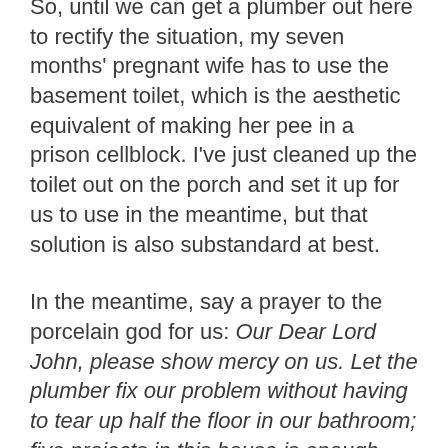So, until we can get a plumber out here to rectify the situation, my seven months' pregnant wife has to use the basement toilet, which is the aesthetic equivalent of making her pee in a prison cellblock. I've just cleaned up the toilet out on the porch and set it up for us to use in the meantime, but that solution is also substandard at best.
In the meantime, say a prayer to the porcelain god for us: Our Dear Lord John, please show mercy on us. Let the plumber fix our problem without having to tear up half the floor in our bathroom; five projects in this house is enough.
I briefly considered posting some pictures, but you really don't want to be